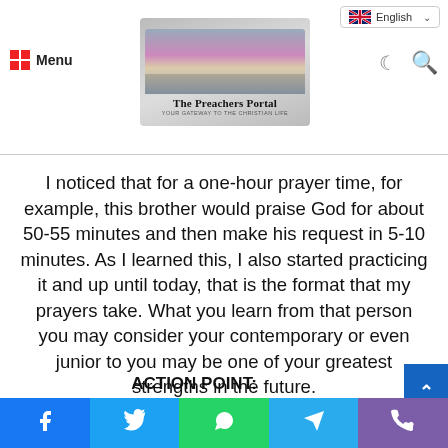The Preachers Portal — English language selector, Menu, moon icon, search icon
I noticed that for a one-hour prayer time, for example, this brother would praise God for about 50-55 minutes and then make his request in 5-10 minutes. As I learned this, I also started practicing it and up until today, that is the format that my prayers take. What you learn from that person you may consider your contemporary or even junior to you may be one of your greatest strengths in the future.
ACTION POINT:
Social share bar: Facebook, Twitter, WhatsApp, Telegram, Phone